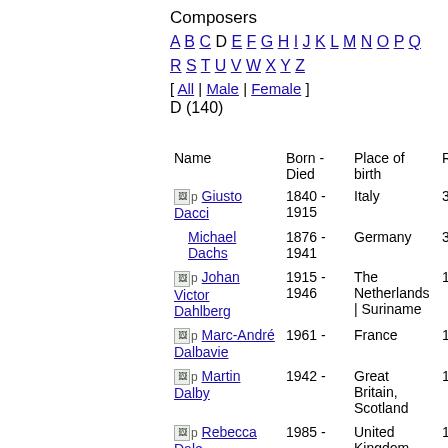Composers
A B C D E F G H I J K L M N O P Q R S T U V W X Y Z
[ All | Male | Female ]
D (140)
| Name | Born - Died | Place of birth | Requie |
| --- | --- | --- | --- |
| Giusto Dacci | 1840 - 1915 | Italy | 3 |
| Michael Dachs | 1876 - 1941 | Germany | 3 |
| Johan Victor Dahlberg | 1915 - 1946 | The Netherlands | Suriname | 1 |
| Marc-André Dalbavie | 1961 - | France | 1 |
| Martin Dalby | 1942 - | Great Britain, Scotland | 1 |
| Rebecca Dale | 1985 - | United Kingdom, England | 1 |
| Eleanor Joanne Daley | 1955 - | Canada | 1 |